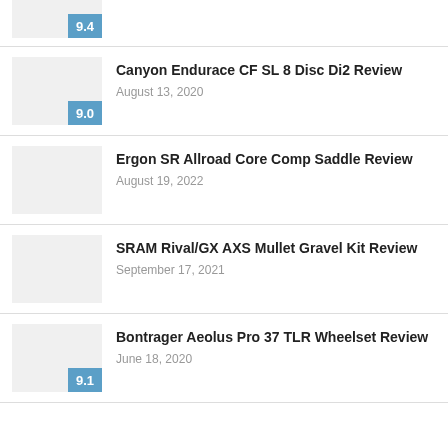9.4 (partial, top cut off)
Canyon Endurace CF SL 8 Disc Di2 Review — August 13, 2020 — Score: 9.0
Ergon SR Allroad Core Comp Saddle Review — August 19, 2022
SRAM Rival/GX AXS Mullet Gravel Kit Review — September 17, 2021
Bontrager Aeolus Pro 37 TLR Wheelset Review — June 18, 2020 — Score: 9.1